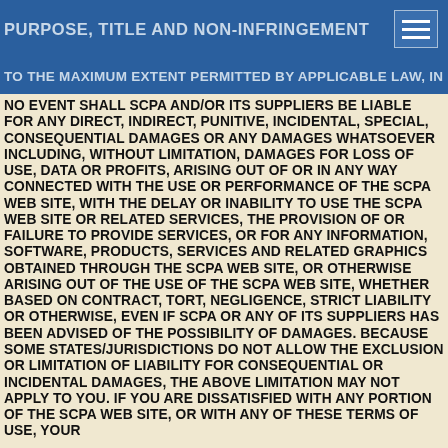PURPOSE, TITLE AND NON-INFRINGEMENT
TO THE MAXIMUM EXTENT PERMITTED BY APPLICABLE LAW, IN NO EVENT SHALL SCPA AND/OR ITS SUPPLIERS BE LIABLE FOR ANY DIRECT, INDIRECT, PUNITIVE, INCIDENTAL, SPECIAL, CONSEQUENTIAL DAMAGES OR ANY DAMAGES WHATSOEVER INCLUDING, WITHOUT LIMITATION, DAMAGES FOR LOSS OF USE, DATA OR PROFITS, ARISING OUT OF OR IN ANY WAY CONNECTED WITH THE USE OR PERFORMANCE OF THE SCPA WEB SITE, WITH THE DELAY OR INABILITY TO USE THE SCPA WEB SITE OR RELATED SERVICES, THE PROVISION OF OR FAILURE TO PROVIDE SERVICES, OR FOR ANY INFORMATION, SOFTWARE, PRODUCTS, SERVICES AND RELATED GRAPHICS OBTAINED THROUGH THE SCPA WEB SITE, OR OTHERWISE ARISING OUT OF THE USE OF THE SCPA WEB SITE, WHETHER BASED ON CONTRACT, TORT, NEGLIGENCE, STRICT LIABILITY OR OTHERWISE, EVEN IF SCPA OR ANY OF ITS SUPPLIERS HAS BEEN ADVISED OF THE POSSIBILITY OF DAMAGES. BECAUSE SOME STATES/JURISDICTIONS DO NOT ALLOW THE EXCLUSION OR LIMITATION OF LIABILITY FOR CONSEQUENTIAL OR INCIDENTAL DAMAGES, THE ABOVE LIMITATION MAY NOT APPLY TO YOU. IF YOU ARE DISSATISFIED WITH ANY PORTION OF THE SCPA WEB SITE, OR WITH ANY OF THESE TERMS OF USE, YOUR